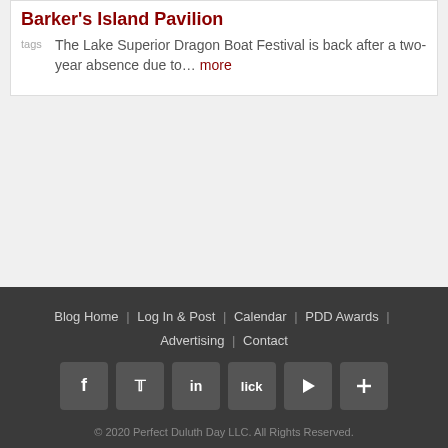Barker's Island Pavilion
The Lake Superior Dragon Boat Festival is back after a two-year absence due to… more
Blog Home | Log In & Post | Calendar | PDD Awards | Advertising | Contact
[Figure (other): Social media icons: Facebook, Twitter, LinkedIn, Flickr, Play/YouTube, Plus/Google+]
© 2020 Perfect Duluth Day LLC. All Rights Reserved.